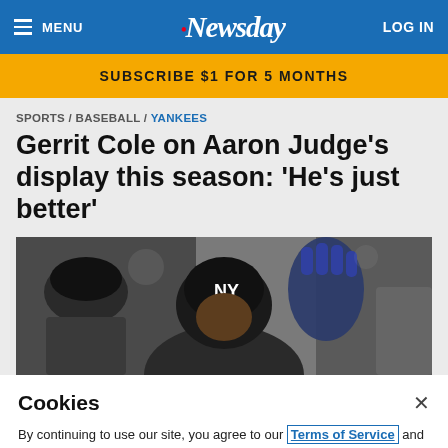MENU | Newsday | LOG IN
SUBSCRIBE $1 FOR 5 MONTHS
SPORTS / BASEBALL / YANKEES
Gerrit Cole on Aaron Judge's display this season: 'He's just better'
[Figure (photo): A New York Yankees baseball player in batting helmet with NY logo, celebrating in dugout, raising gloved hand]
Cookies
By continuing to use our site, you agree to our Terms of Service and Privacy Policy. You can learn more about how we use cookies by reviewing our Privacy Policy.